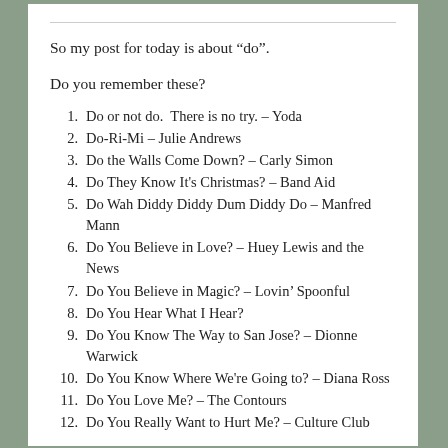So my post for today is about “do”.
Do you remember these?
Do or not do.  There is no try. – Yoda
Do-Ri-Mi – Julie Andrews
Do the Walls Come Down? – Carly Simon
Do They Know It's Christmas? – Band Aid
Do Wah Diddy Diddy Dum Diddy Do – Manfred Mann
Do You Believe in Love? – Huey Lewis and the News
Do You Believe in Magic? – Lovin' Spoonful
Do You Hear What I Hear?
Do You Know The Way to San Jose? – Dionne Warwick
Do You Know Where We're Going to? – Diana Ross
Do You Love Me? – The Contours
Do You Really Want to Hurt Me? – Culture Club